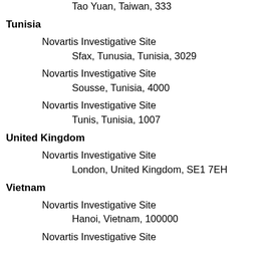Tao Yuan, Taiwan, 333
Tunisia
Novartis Investigative Site
Sfax, Tunusia, Tunisia, 3029
Novartis Investigative Site
Sousse, Tunisia, 4000
Novartis Investigative Site
Tunis, Tunisia, 1007
United Kingdom
Novartis Investigative Site
London, United Kingdom, SE1 7EH
Vietnam
Novartis Investigative Site
Hanoi, Vietnam, 100000
Novartis Investigative Site